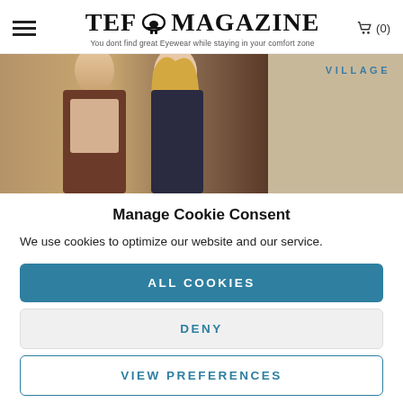TEFS MAGAZINE — You dont find great Eyewear while staying in your comfort zone
[Figure (photo): Photo of a young man and woman against a neutral background, partially visible. Text 'VILLAGE' appears to the right in teal uppercase letters.]
Manage Cookie Consent
We use cookies to optimize our website and our service.
ALL COOKIES
DENY
VIEW PREFERENCES